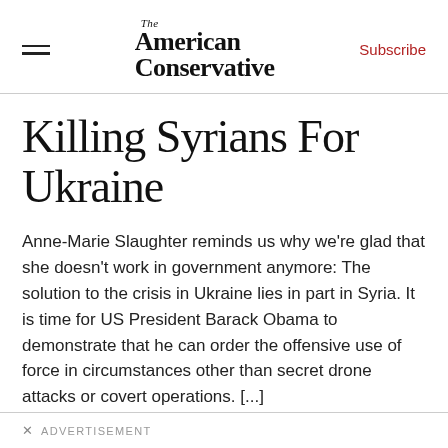The American Conservative | Subscribe
Killing Syrians For Ukraine
Anne-Marie Slaughter reminds us why we're glad that she doesn't work in government anymore: The solution to the crisis in Ukraine lies in part in Syria. It is time for US President Barack Obama to demonstrate that he can order the offensive use of force in circumstances other than secret drone attacks or covert operations. [...]
ADVERTISEMENT